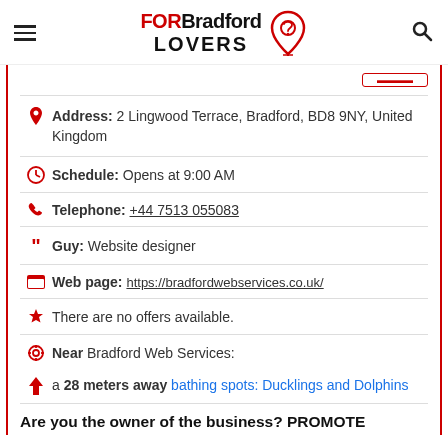FOR Bradford LOVERS
Address: 2 Lingwood Terrace, Bradford, BD8 9NY, United Kingdom
Schedule: Opens at 9:00 AM
Telephone: +44 7513 055083
Guy: Website designer
Web page: https://bradfordwebservices.co.uk/
There are no offers available.
Near Bradford Web Services:
a 28 meters away bathing spots: Ducklings and Dolphins
Are you the owner of the business? PROMOTE